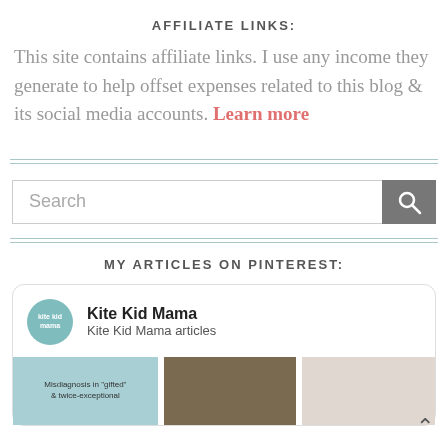AFFILIATE LINKS:
This site contains affiliate links. I use any income they generate to help offset expenses related to this blog & its social media accounts. Learn more
[Figure (other): Search bar with text input and search button]
MY ARTICLES ON PINTEREST:
[Figure (other): Pinterest widget card showing Kite Kid Mama profile with icon, name, subtitle 'Kite Kid Mama articles', and three thumbnail images below including one blue card with text 'Misdiagnosis in gifted & twice-exceptional']